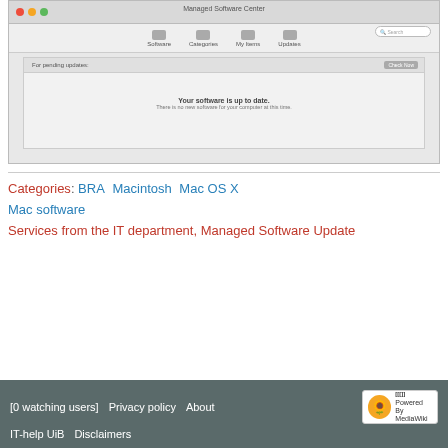[Figure (screenshot): Screenshot of Managed Software Center application on macOS showing 'No pending updates' message. Window has red/yellow/green traffic-light buttons, toolbar with Software, Categories, My Items, Updates icons, a search bar, and main content area displaying 'Your software is up to date. There is no new software for your computer at this time.']
Categories: BRA   Macintosh   Mac OS X
Mac software
Services from the IT department, Managed Software Update
[0 watching users]   Privacy policy   About   IT-help UiB   Disclaimers   Powered By MediaWiki